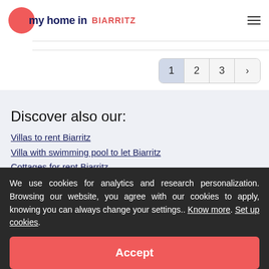my home in BIARRITZ
1 2 3 >
Discover also our:
Villas to rent Biarritz
Villa with swimming pool to let Biarritz
Cottages for rent Biarritz
Budget accommodation Biarritz
Villa rental Biarritz centre
Apartment rental Biarritz centre
We use cookies for analytics and research personalization. Browsing our website, you agree with our cookies to apply, knowing you can always change your settings.. Know more. Set up cookies.
Accept